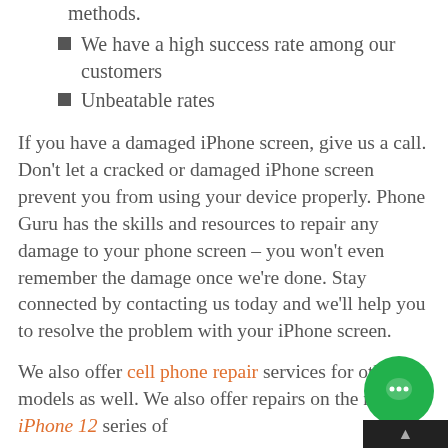We offer convenient delivery methods.
We have a high success rate among our customers
Unbeatable rates
If you have a damaged iPhone screen, give us a call. Don't let a cracked or damaged iPhone screen prevent you from using your device properly. Phone Guru has the skills and resources to repair any damage to your phone screen – you won't even remember the damage once we're done. Stay connected by contacting us today and we'll help you to resolve the problem with your iPhone screen.
We also offer cell phone repair services for other models as well. We also offer repairs on the newer iPhone 12 series of